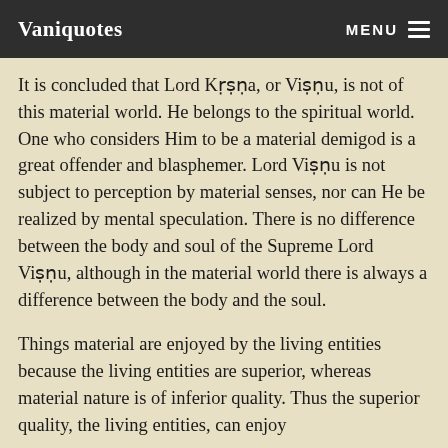Vaniquotes   MENU
It is concluded that Lord Kṛṣṇa, or Viṣṇu, is not of this material world. He belongs to the spiritual world. One who considers Him to be a material demigod is a great offender and blasphemer. Lord Viṣṇu is not subject to perception by material senses, nor can He be realized by mental speculation. There is no difference between the body and soul of the Supreme Lord Viṣṇu, although in the material world there is always a difference between the body and the soul.
Things material are enjoyed by the living entities because the living entities are superior, whereas material nature is of inferior quality. Thus the superior quality, the living entities, can enjoy...